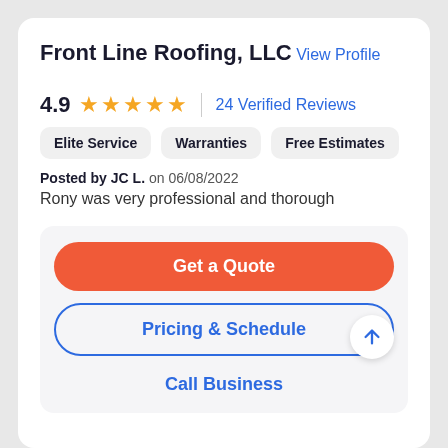Front Line Roofing, LLC
View Profile
4.9  ★★★★★  |  24 Verified Reviews
Elite Service
Warranties
Free Estimates
Posted by JC L. on 06/08/2022
Rony was very professional and thorough
Get a Quote
Pricing & Schedule
Call Business